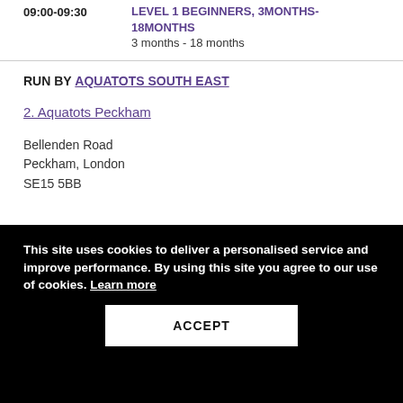| Time | Class |
| --- | --- |
| 09:00-09:30 | LEVEL 1 BEGINNERS, 3MONTHS-18MONTHS
3 months - 18 months |
RUN BY AQUATOTS SOUTH EAST
2. Aquatots Peckham
Bellenden Road
Peckham, London
SE15 5BB
This site uses cookies to deliver a personalised service and improve performance. By using this site you agree to our use of cookies. Learn more
ACCEPT